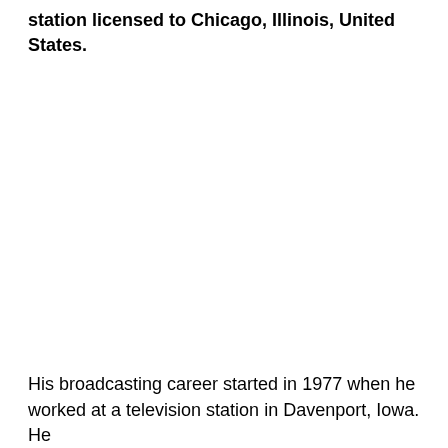station licensed to Chicago, Illinois, United States.
His broadcasting career started in 1977 when he worked at a television station in Davenport, Iowa. He